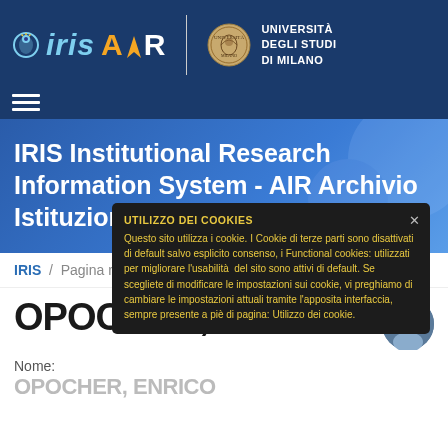[Figure (logo): IRIS AIR logo with eye icon on dark blue background, and Università degli Studi di Milano seal and name]
IRIS Institutional Research Information System - AIR Archivio Istituzionale della Ricerca
IRIS / Pagina ricercatore
OPOCHER ENRICO
[Figure (other): Cookie consent popup overlay with dark background and yellow text: UTILIZZO DEI COOKIES - Questo sito utilizza i cookie. I Cookie di terze parti sono disattivati di default salvo esplicito consenso, i Functional cookies: utilizzati per migliorare l'usabilità del sito sono attivi di default. Se scegliete di modificare le impostazioni sui cookie, vi preghiamo di cambiare le impostazioni attuali tramite l'apposita interfaccia, sempre presente a piè di pagina: Utilizzo dei cookie.]
Nome: OPOCHER, ENRICO